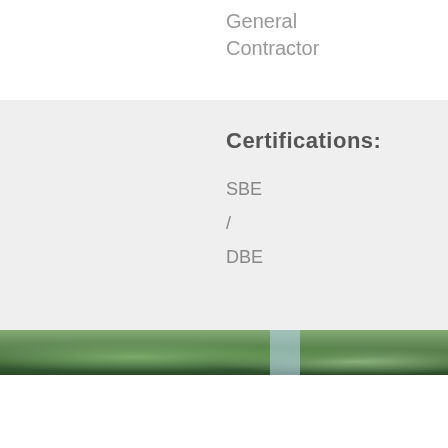General Contractor
Certifications:
SBE
/
DBE
[Figure (photo): Outdoor photo strip showing trees and vegetation with a light pole or structure visible]